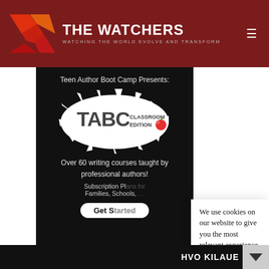THE WATCHERS — WATCHING THE WORLD EVOLVE AND TRANSFORM
[Figure (photo): TABC Classroom Edition advertisement — Teen Author Boot Camp Presents: TABC Classroom Edition. Over 60 writing courses taught by professional authors! Subscription Plans for Families, Schools. Get Started button.]
[Figure (map): NOAA weather map showing southeastern United States with 30N latitude marker]
We use cookies on our website to give you the most relevant experience by remembering your preferences and repeat visits. By clicking “Accept”, you consent to the use of ALL the cookies.
Do not sell my personal information.
Cookie settings
Accept
HVO KILAUEA